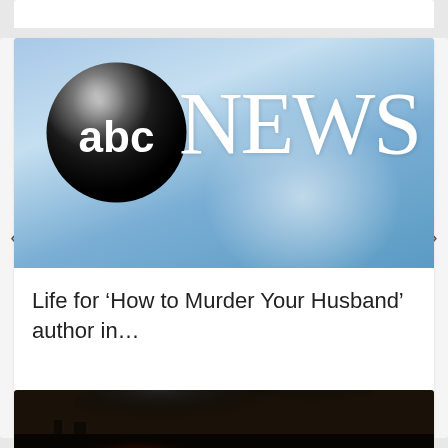[Figure (logo): ABC News logo — black sphere with 'abc' in white text, next to white 'NEWS' in serif font, on a light blue gradient background]
Life for ‘How to Murder Your Husband’ author in...
[Figure (photo): Industrial fire with large black smoke plumes rising against a dark sky; structural silhouette visible in foreground]